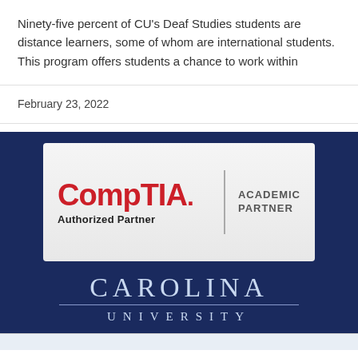Ninety-five percent of CU's Deaf Studies students are distance learners, some of whom are international students. This program offers students a chance to work within
February 23, 2022
[Figure (logo): CompTIA Authorized Partner Academic Partner logo above Carolina University text on dark navy blue background]